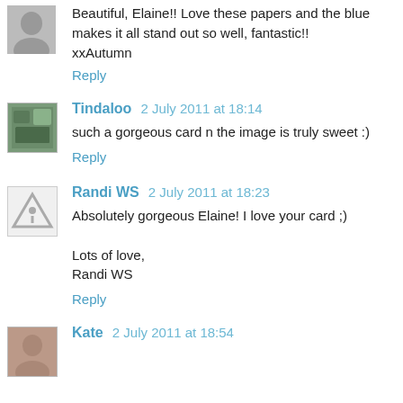Beautiful, Elaine!! Love these papers and the blue makes it all stand out so well, fantastic!!
xxAutumn
Reply
Tindaloo 2 July 2011 at 18:14
such a gorgeous card n the image is truly sweet :)
Reply
Randi WS 2 July 2011 at 18:23
Absolutely gorgeous Elaine! I love your card ;)

Lots of love,
Randi WS
Reply
Kate 2 July 2011 at 18:54